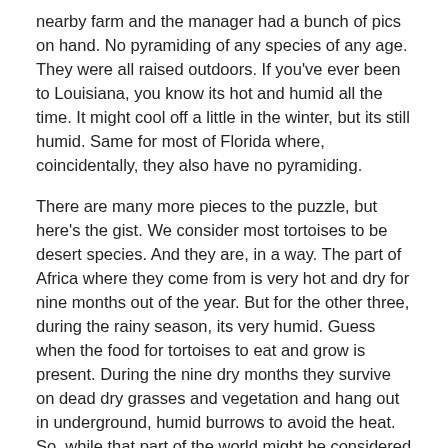nearby farm and the manager had a bunch of pics on hand. No pyramiding of any species of any age. They were all raised outdoors. If you've ever been to Louisiana, you know its hot and humid all the time. It might cool off a little in the winter, but its still humid. Same for most of Florida where, coincidentally, they also have no pyramiding.
There are many more pieces to the puzzle, but here's the gist. We consider most tortoises to be desert species. And they are, in a way. The part of Africa where they come from is very hot and dry for nine months out of the year. But for the other three, during the rainy season, its very humid. Guess when the food for tortoises to eat and grow is present. During the nine dry months they survive on dead dry grasses and vegetation and hang out in underground, humid burrows to avoid the heat. So, while that part of the world might be considered desert for most of the year, its not much of a desert during the relatively short rainy season. In captivity, we don't simulate a nine month dry spell with little to no food or growth. Instead, we have super-nutritious food, in daily abundance, and heavy growth year round regardless of humidity or rain.
I have also to start to